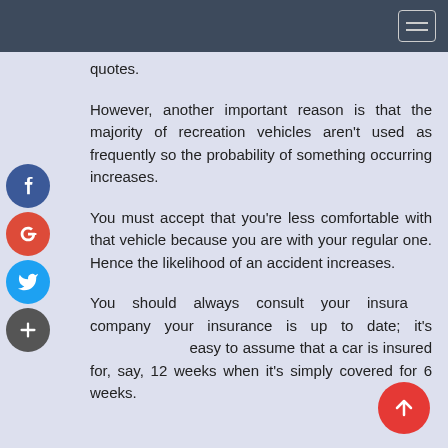quotes.
However, another important reason is that the majority of recreation vehicles aren't used as frequently so the probability of something occurring increases.
You must accept that you're less comfortable with that vehicle because you are with your regular one. Hence the likelihood of an accident increases.
You should always consult your insurance company your insurance is up to date; it's easy to assume that a car is insured for, say, 12 weeks when it's simply covered for 6 weeks.